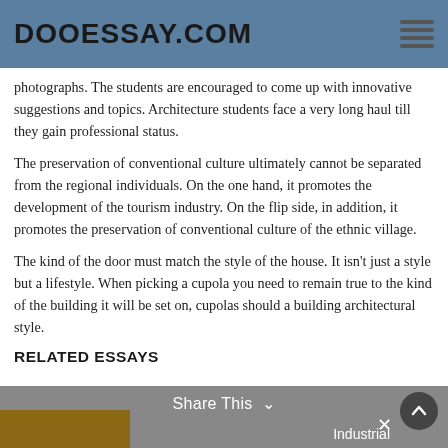DOOESSAY.COM
photographs. The students are encouraged to come up with innovative suggestions and topics. Architecture students face a very long haul till they gain professional status.
The preservation of conventional culture ultimately cannot be separated from the regional individuals. On the one hand, it promotes the development of the tourism industry. On the flip side, in addition, it promotes the preservation of conventional culture of the ethnic village.
The kind of the door must match the style of the house. It isn't just a style but a lifestyle. When picking a cupola you need to remain true to the kind of the building it will be set on, cupolas should a building architectural style.
RELATED ESSAYS
Share This ∨  Industrial